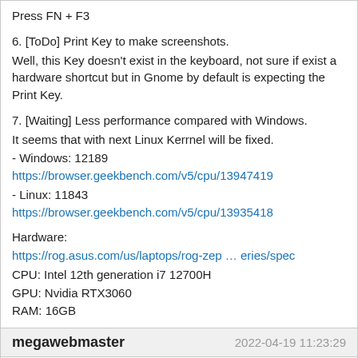Press FN + F3
6. [ToDo] Print Key to make screenshots.
Well, this Key doesn't exist in the keyboard, not sure if exist a hardware shortcut but in Gnome by default is expecting the Print Key.
7. [Waiting] Less performance compared with Windows.
It seems that with next Linux Kerrnel will be fixed.
- Windows: 12189 https://browser.geekbench.com/v5/cpu/13947419
- Linux: 11843 https://browser.geekbench.com/v5/cpu/13935418
Hardware:
https://rog.asus.com/us/laptops/rog-zep … eries/spec
CPU: Intel 12th generation i7 12700H
GPU: Nvidia RTX3060
RAM: 16GB
megawebmaster
2022-04-19 11:23:29
@hytew - I solved the audio problem on my machine and here's the solution (using hdajackretask from alsa-utils package):
https://wiki.archlinux.org/title/ASUS_Zenbook_UX431
Last edited by megawebmaster (2022-04-19 11:23:41)